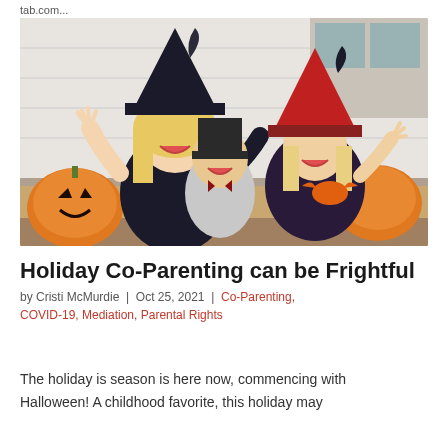tab.com...
[Figure (photo): A woman and two children dressed in Halloween costumes (witch hats, top hat) making scary poses at a table with jack-o-lantern pumpkins. Indoor setting with white brick background.]
Holiday Co-Parenting can be Frightful
by Cristi McMurdie | Oct 25, 2021 | Co-Parenting, COVID-19, Mediation, Parental Rights
The holiday is season is here now, commencing with Halloween! A childhood favorite, this holiday may